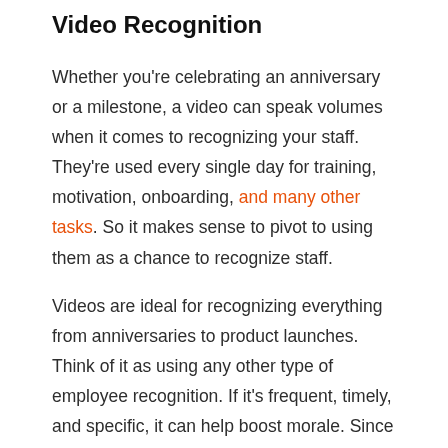Video Recognition
Whether you're celebrating an anniversary or a milestone, a video can speak volumes when it comes to recognizing your staff. They're used every single day for training, motivation, onboarding, and many other tasks. So it makes sense to pivot to using them as a chance to recognize staff.
Videos are ideal for recognizing everything from anniversaries to product launches. Think of it as using any other type of employee recognition. If it's frequent, timely, and specific, it can help boost morale. Since everyone has a video camera and editing tools pretty much built into their phones these days, it's quite easy to make an employee recognition